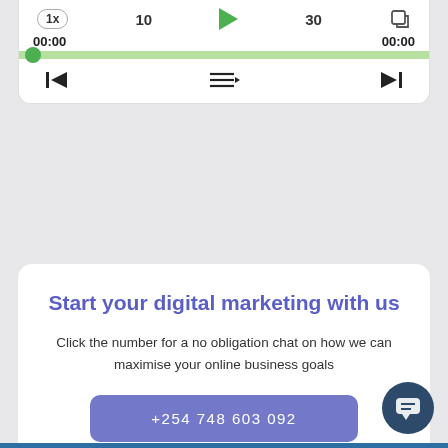[Figure (screenshot): Audio/podcast player widget showing speed control (1x), skip buttons (10, 30), play button (green triangle), export icon, timestamp 00:00 on both sides, green progress bar with dot at start, and playback controls (back, menu, forward).]
Start your digital marketing with us
Click the number for a no obligation chat on how we can maximise your online business goals
+254 748 603 092